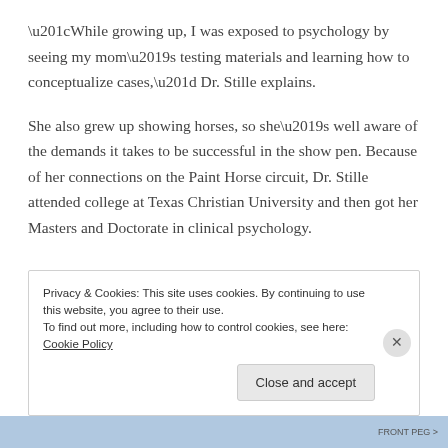“While growing up, I was exposed to psychology by seeing my mom’s testing materials and learning how to conceptualize cases,” Dr. Stille explains.
She also grew up showing horses, so she’s well aware of the demands it takes to be successful in the show pen. Because of her connections on the Paint Horse circuit, Dr. Stille attended college at Texas Christian University and then got her Masters and Doctorate in clinical psychology.
Privacy & Cookies: This site uses cookies. By continuing to use this website, you agree to their use. To find out more, including how to control cookies, see here: Cookie Policy
Close and accept